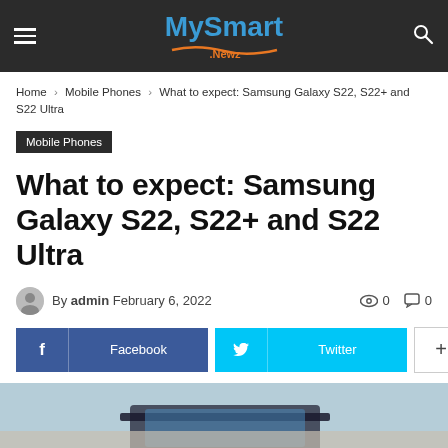MySmart Newz
Home › Mobile Phones › What to expect: Samsung Galaxy S22, S22+ and S22 Ultra
Mobile Phones
What to expect: Samsung Galaxy S22, S22+ and S22 Ultra
By admin February 6, 2022  0  0
Facebook  Twitter  +
[Figure (photo): Bottom portion of article page showing a Samsung Galaxy phone on a wooden surface]